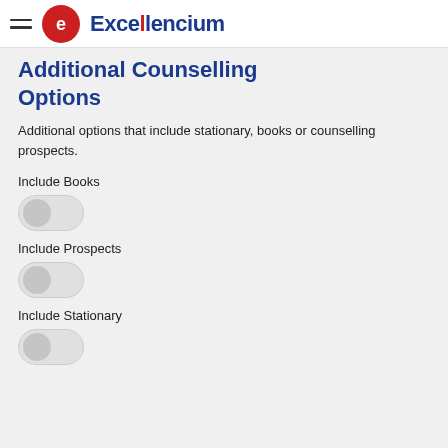Excellencium
Additional Counselling Options
Additional options that include stationary, books or counselling prospects.
Include Books
Include Prospects
Include Stationary